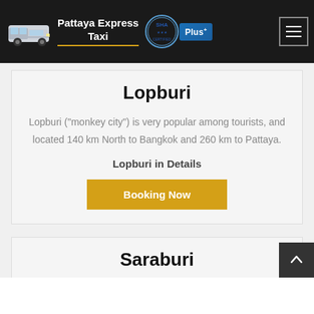Pattaya Express Taxi
Lopburi
Lopburi ("monkey city") is very popular among tourists, and located 140 km North to Bangkok and 260 km to Pattaya.
Lopburi in Details
Booking Now
Saraburi